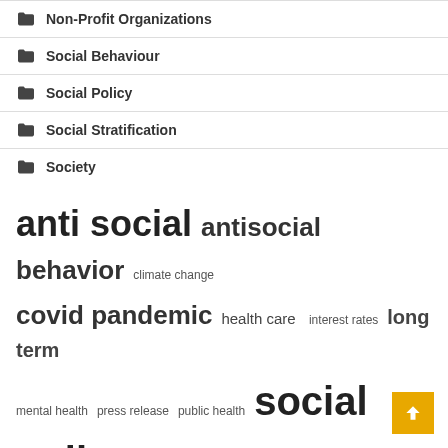Non-Profit Organizations
Social Behaviour
Social Policy
Social Stratification
Society
[Figure (infographic): Tag cloud containing: anti social (largest), antisocial behavior (large), climate change (small), covid pandemic (large), health care (medium), interest rates (small), long term (large), mental health (small), press release (small), public health (small), social policy (largest), social stratification (small), united states (very large), vice president (small), young people (medium)]